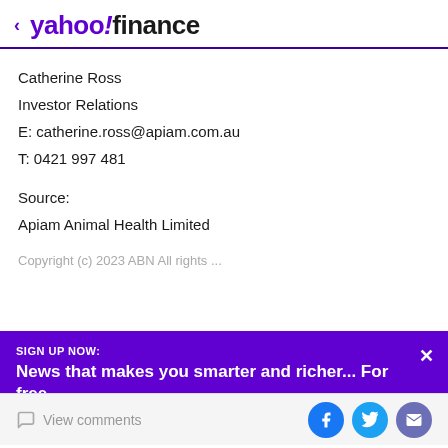< yahoo!finance
Catherine Ross
Investor Relations
E: catherine.ross@apiam.com.au
T: 0421 997 481
Source:
Apiam Animal Health Limited
Copyright (c) 2023 ABN All rights reserved...
SIGN UP NOW:
News that makes you smarter and richer... For free.
View comments